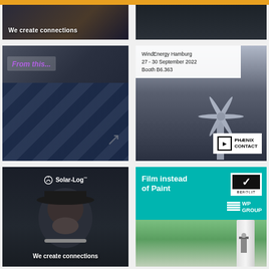[Figure (photo): Dark advertisement banner with text 'We create connections' - Solar-Log brand, man in dark hat with cables]
[Figure (photo): Dark advertisement banner with 'LEARN MORE >>' button in cyan border]
[Figure (photo): Advertisement showing broken solar panels with text 'From this...' in purple italic]
[Figure (photo): WindEnergy Hamburg 27-30 September 2022 Booth B6.363 - Phoenix Contact advertisement with wind turbine image]
[Figure (photo): Solar-Log advertisement with man in dark hat holding cables, text 'We create connections']
[Figure (photo): Renolit / WP Group advertisement: 'Film instead of Paint' on teal background with wind turbine photo]